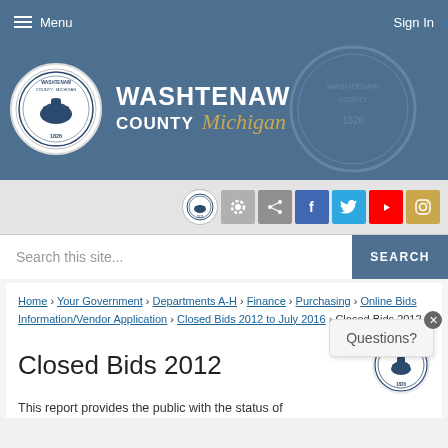Menu | Sign In
[Figure (logo): Washtenaw County Michigan logo with seal and county name]
[Figure (infographic): Social media icons bar: county seal, gear, share, Facebook, Twitter, YouTube, Instagram]
Search this site...
Home › Your Government › Departments A-H › Finance › Purchasing › Online Bids Information/Vendor Application › Closed Bids 2012 to July 2016 › Closed Bids 2012
Questions?
Closed Bids 2012
This report provides the public with the status of